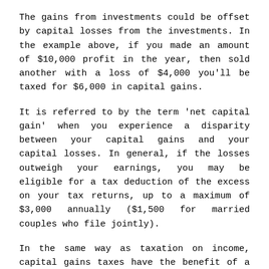The gains from investments could be offset by capital losses from the investments. In the example above, if you made an amount of $10,000 profit in the year, then sold another with a loss of $4,000 you'll be taxed for $6,000 in capital gains.
It is referred to by the term 'net capital gain' when you experience a disparity between your capital gains and your capital losses. In general, if the losses outweigh your earnings, you may be eligible for a tax deduction of the excess on your tax returns, up to a maximum of $3,000 annually ($1,500 for married couples who file jointly).
In the same way as taxation on income, capital gains taxes have the benefit of a graduated rate of return.
Two Things To Keep An Eye Out For